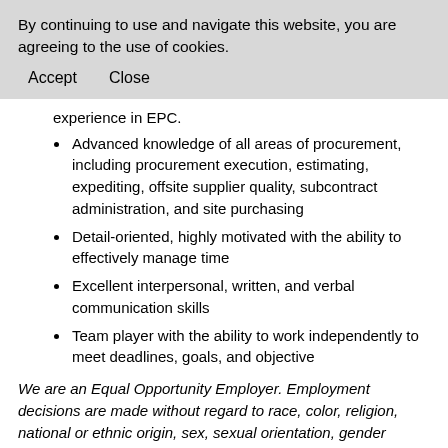By continuing to use and navigate this website, you are agreeing to the use of cookies.
Accept    Close
experience in EPC.
Advanced knowledge of all areas of procurement, including procurement execution, estimating, expediting, offsite supplier quality, subcontract administration, and site purchasing
Detail-oriented, highly motivated with the ability to effectively manage time
Excellent interpersonal, written, and verbal communication skills
Team player with the ability to work independently to meet deadlines, goals, and objective
We are an Equal Opportunity Employer. Employment decisions are made without regard to race, color, religion, national or ethnic origin, sex, sexual orientation, gender identity or expression, age, disability, protected veteran